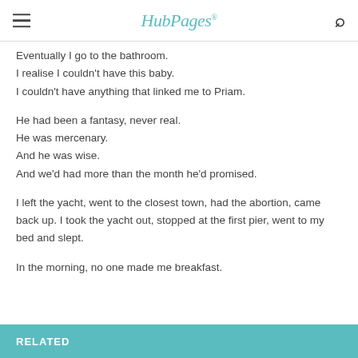HubPages
Eventually I go to the bathroom.
I realise I couldn't have this baby.
I couldn't have anything that linked me to Priam.
He had been a fantasy, never real.
He was mercenary.
And he was wise.
And we'd had more than the month he'd promised.
I left the yacht, went to the closest town, had the abortion, came back up. I took the yacht out, stopped at the first pier, went to my bed and slept.
In the morning, no one made me breakfast.
RELATED